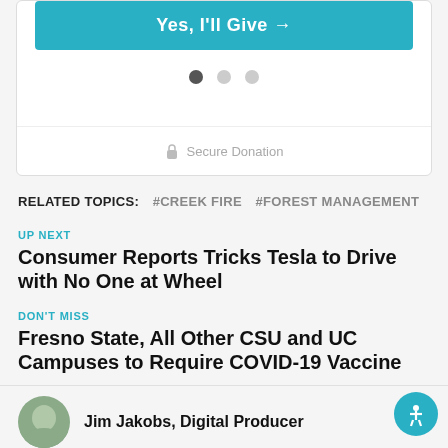[Figure (screenshot): Teal/cyan 'Yes, I'll Give' donation button at top of card]
[Figure (other): Three pagination dots: one dark (active), two light gray (inactive)]
Secure Donation
RELATED TOPICS: #CREEK FIRE #FOREST MANAGEMENT
UP NEXT
Consumer Reports Tricks Tesla to Drive with No One at Wheel
DON'T MISS
Fresno State, All Other CSU and UC Campuses to Require COVID-19 Vaccine
Jim Jakobs, Digital Producer